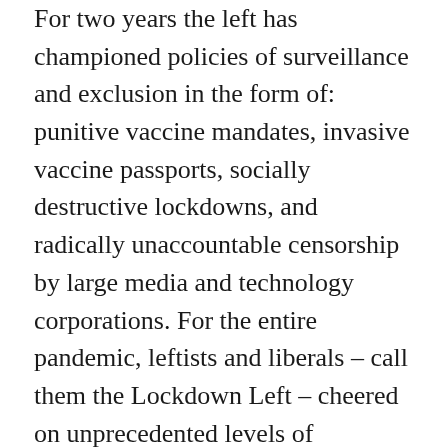For two years the left has championed policies of surveillance and exclusion in the form of: punitive vaccine mandates, invasive vaccine passports, socially destructive lockdowns, and radically unaccountable censorship by large media and technology corporations. For the entire pandemic, leftists and liberals – call them the Lockdown Left – cheered on unprecedented levels of repression aimed primarily at the working class – those who could not afford private schools and could not comfortably telecommute from second homes.
Almost the entire left intelligentsia has remained psychically stuck in March 2020. Its members have applauded the new biosecurity repression and calumniated as liars, grifters, and fascists any and all